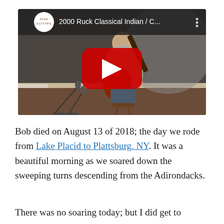[Figure (screenshot): YouTube video thumbnail showing a man seated playing a classical guitar in a studio setting with microphones in front. The video title reads '2000 Ruck Classical Indian / C...' with the Drum Guitars channel logo. A large red YouTube play button is centered over the image.]
Bob died on August 13 of 2018; the day we rode from Lake Placid to Plattsburg, NY. It was a beautiful morning as we soared down the sweeping turns descending from the Adirondacks.
There was no soaring today; but I did get to